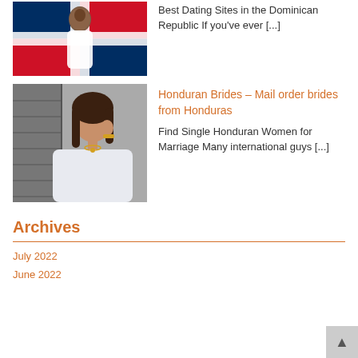[Figure (photo): Woman in white bikini top with Dominican Republic flag in background]
Best Dating Sites in the Dominican Republic If you've ever [...]
[Figure (photo): Young woman with long brown hair in white off-shoulder top, wearing jewelry]
Honduran Brides – Mail order brides from Honduras
Find Single Honduran Women for Marriage Many international guys [...]
Archives
July 2022
June 2022